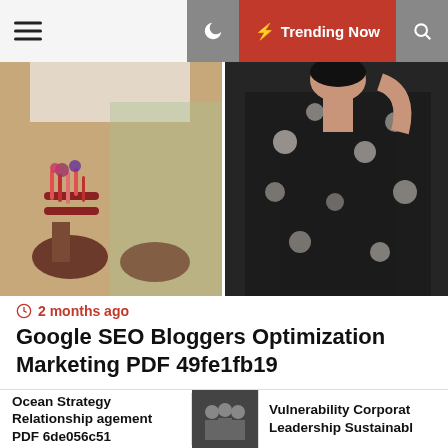≡  🌙  ⚡ Trending Now  🔍
[Figure (photo): Two fashion photos side by side: left shows boho sandals with tassels on a woman's legs; right shows a woman in a black floral kimono top]
2 months ago
Google SEO Bloggers Optimization Marketing PDF 49fe1fb19
[Figure (photo): Three girls in matching blue floral print dresses smiling together against a grey background]
Ocean Strategy Relationship agement PDF 6de056c51
[Figure (photo): Small thumbnail of a group of people, business/corporate setting]
Vulnerability Corporat Leadership Sustainabl